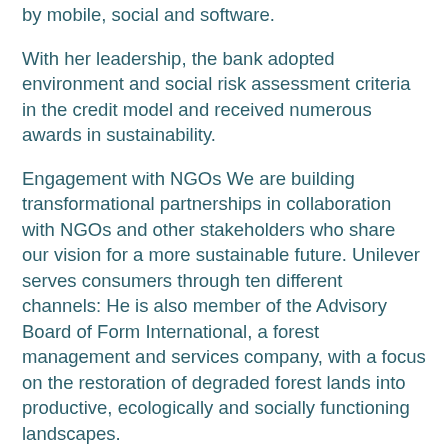by mobile, social and software.
With her leadership, the bank adopted environment and social risk assessment criteria in the credit model and received numerous awards in sustainability.
Engagement with NGOs We are building transformational partnerships in collaboration with NGOs and other stakeholders who share our vision for a more sustainable future. Unilever serves consumers through ten different channels: He is also member of the Advisory Board of Form International, a forest management and services company, with a focus on the restoration of degraded forest lands into productive, ecologically and socially functioning landscapes.
Engaging with communities Our business contributes to the economic livelihoods of many people and communities across our value chain. These corporate responsibility